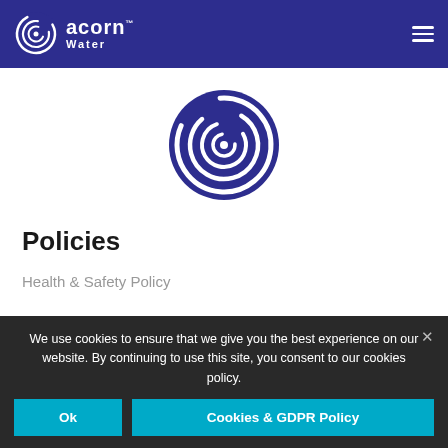Acorn Water - navigation header with logo and hamburger menu
[Figure (logo): Acorn Water circular spiral logo in dark blue/indigo color, centered on white background]
Policies
Health & Safety Policy
We use cookies to ensure that we give you the best experience on our website. By continuing to use this site, you consent to our cookies policy.
Ok | Cookies & GDPR Policy